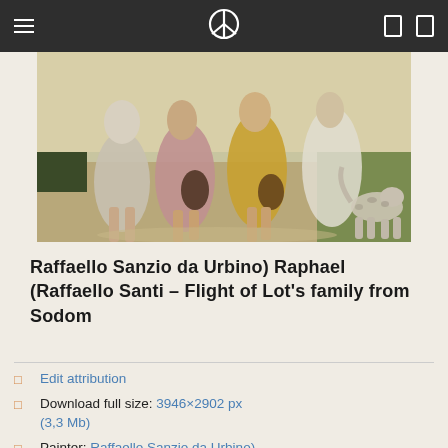☰ ☮ □ □
[Figure (photo): A detail from a classical painting showing robed figures walking, with a dog on the right side, in warm earth tones.]
Raffaello Sanzio da Urbino) Raphael (Raffaello Santi – Flight of Lot's family from Sodom
Edit attribution
Download full size: 3946×2902 px (3,3 Mb)
Painter: Raffaello Sanzio da Urbino) Raphael (Raffaello Santi